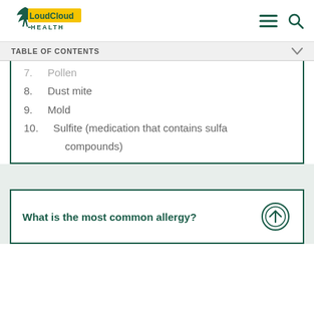LoudCloud HEALTH
TABLE OF CONTENTS
7. Pollen
8. Dust mite
9. Mold
10. Sulfite (medication that contains sulfa compounds)
What is the most common allergy?